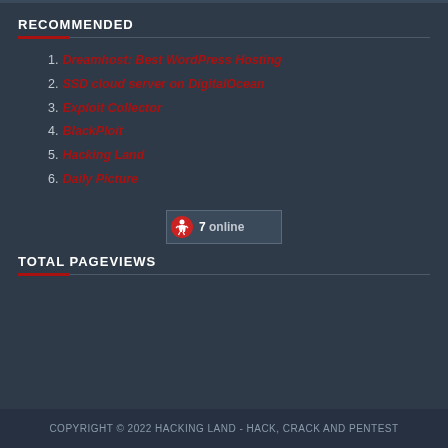RECOMMENDED
1. Dreamhost: Best WordPress Hosting
2. SSD cloud server on DigitalOcean
3. Exploit Collector
4. BlackPloit
5. Hacking Land
6. Daily Picture
[Figure (screenshot): Online users widget showing 7 online with a running figure icon]
TOTAL PAGEVIEWS
COPYRIGHT © 2022 HACKING LAND - HACK, CRACK AND PENTEST